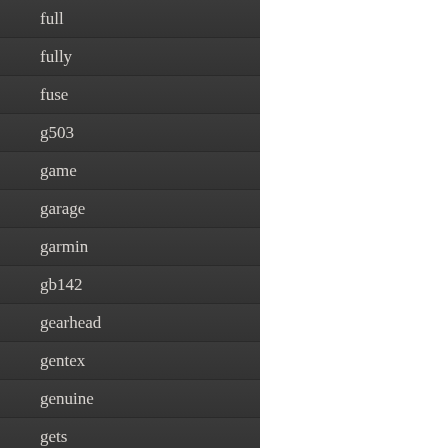full
fully
fuse
g503
game
garage
garmin
gb142
gearhead
gentex
genuine
gets